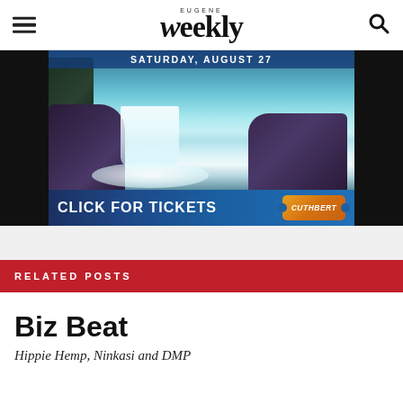EUGENE Weekly
[Figure (illustration): Advertisement banner showing a waterfall and ocean scene with text 'SATURDAY, AUGUST 27' at top and 'CLICK FOR TICKETS' with Cuthbert logo at bottom]
RELATED POSTS
Biz Beat
Hippie Hemp, Ninkasi and DMP